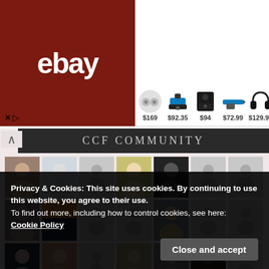[Figure (screenshot): eBay advertisement banner showing various products with prices: earbuds $169, tool $92.35, speaker $94, drill $72.99, headphones $129.99, laptop $129.99]
CCF COMMUNITY
[Figure (screenshot): CCF Community member avatar grid showing profile photos and placeholder silhouettes arranged in 3 rows]
Privacy & Cookies: This site uses cookies. By continuing to use this website, you agree to their use.
To find out more, including how to control cookies, see here: Cookie Policy
Close and accept